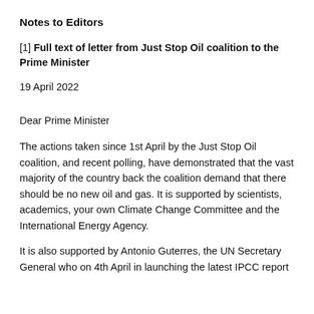Notes to Editors
[1] Full text of letter from Just Stop Oil coalition to the Prime Minister
19 April 2022
Dear Prime Minister
The actions taken since 1st April by the Just Stop Oil coalition, and recent polling, have demonstrated that the vast majority of the country back the coalition demand that there should be no new oil and gas. It is supported by scientists, academics, your own Climate Change Committee and the International Energy Agency.
It is also supported by Antonio Guterres, the UN Secretary General who on 4th April in launching the latest IPCC report